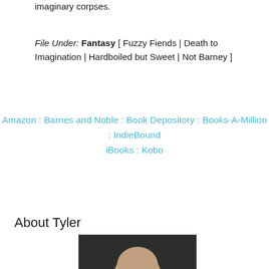imaginary corpses.
File Under: Fantasy [ Fuzzy Fiends | Death to Imagination | Hardboiled but Sweet | Not Barney ]
Amazon : Barnes and Noble : Book Depository : Books-A-Million : IndieBound iBooks : Kobo
About Tyler
[Figure (photo): Portrait photo of Tyler, showing the top of a person's head against a dark background]